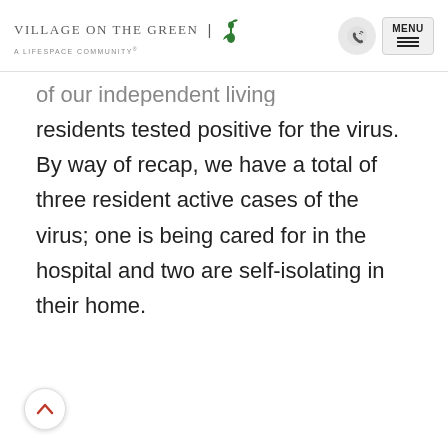Village on the Green | A Lifespace Community
of our independent living residents tested positive for the virus. By way of recap, we have a total of three resident active cases of the virus; one is being cared for in the hospital and two are self-isolating in their home.